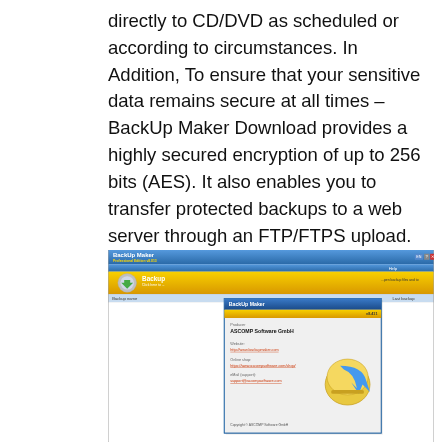directly to CD/DVD as scheduled or according to circumstances. In Addition, To ensure that your sensitive data remains secure at all times – BackUp Maker Download provides a highly secured encryption of up to 256 bits (AES). It also enables you to transfer protected backups to a web server through an FTP/FTPS upload.
[Figure (screenshot): Screenshot of BackUp Maker application with an About dialog box open, showing BackUp Maker Professional Edition v8.013, Producer: ASCOMP Software GmbH, Website: http://www.backupmaker.com, Online shop: https://www.ascompsoftware.com/shop/, eMail (support): support@ascompsoftware.com, Copyright © ASCOMP Software GmbH]